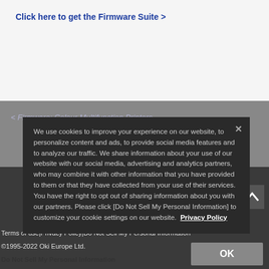Click here to get the Firmware Suite >
< Firmware: Colour Multifunction Printers
We use cookies to improve your experience on our website, to personalize content and ads, to provide social media features and to analyze our traffic. We share information about your use of our website with our social media, advertising and analytics partners, who may combine it with other information that you have provided to them or that they have collected from your use of their services. You have the right to opt out of sharing information about you with our partners. Please click [Do Not Sell My Personal Information] to customize your cookie settings on our website. Privacy Policy
Terms of use|Privacy Policy|Do Not Sell My Personal Information
©1995-2022 Oki Europe Ltd.
Do Not Sell My Personal Information